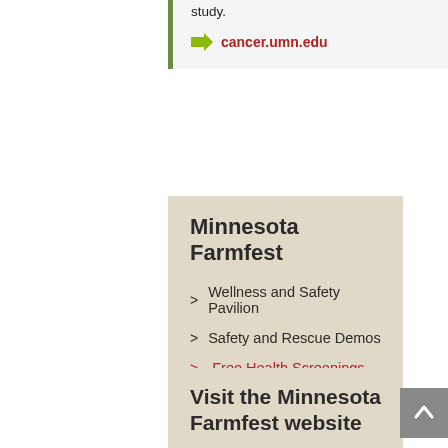study.
cancer.umn.edu
Minnesota Farmfest
Wellness and Safety Pavilion
Safety and Rescue Demos
Free Health Screenings
Wellness and Safety Tent
Visit the Minnesota Farmfest website